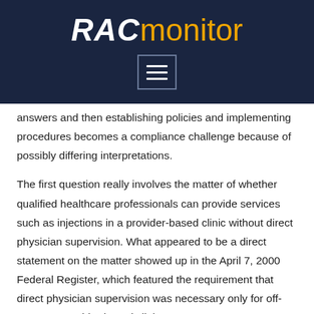[Figure (logo): RACmonitor logo with dark navy background. 'RAC' in bold white italic text and 'monitor' in orange text, with a hamburger menu icon below.]
answers and then establishing policies and implementing procedures becomes a compliance challenge because of possibly differing interpretations.
The first question really involves the matter of whether qualified healthcare professionals can provide services such as injections in a provider-based clinic without direct physician supervision. What appeared to be a direct statement on the matter showed up in the April 7, 2000 Federal Register, which featured the requirement that direct physician supervision was necessary only for off-campus, provider-based clinics.
Starting in about 2009, CMS began clarifying guidance relative to direct physician supervision, and today, virtually all outpatient therapeutic services require it. However, in this process CMS also developed a